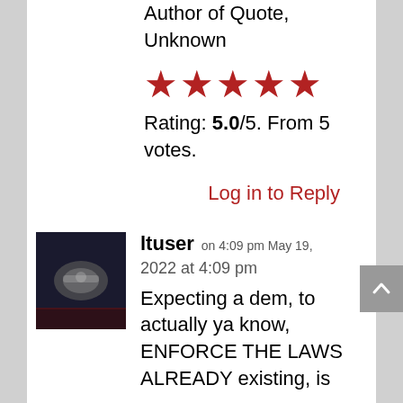Author of Quote, Unknown
Rating: 5.0/5. From 5 votes.
Log in to Reply
ltuser on 4:09 pm May 19, 2022 at 4:09 pm
Expecting a dem, to actually ya know, ENFORCE THE LAWS ALREADY existing, is